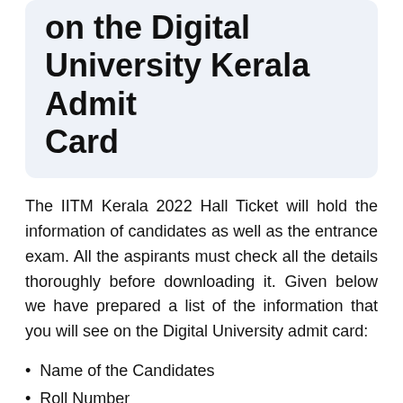on the Digital University Kerala Admit Card
The IITM Kerala 2022 Hall Ticket will hold the information of candidates as well as the entrance exam. All the aspirants must check all the details thoroughly before downloading it. Given below we have prepared a list of the information that you will see on the Digital University admit card:
Name of the Candidates
Roll Number